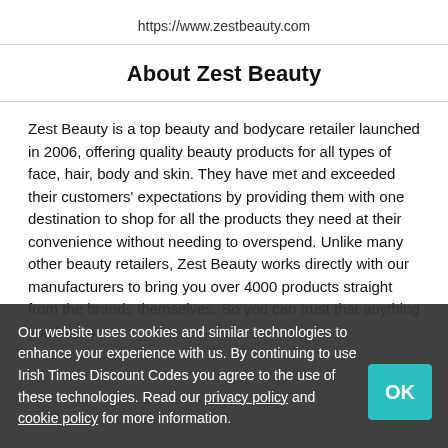https://www.zestbeauty.com
About Zest Beauty
Zest Beauty is a top beauty and bodycare retailer launched in 2006, offering quality beauty products for all types of face, hair, body and skin. They have met and exceeded their customers' expectations by providing them with one destination to shop for all the products they need at their convenience without needing to overspend. Unlike many other beauty retailers, Zest Beauty works directly with our manufacturers to bring you over 4000 products straight from the brands themselves. So you can trust that anything you buy is
Our website uses cookies and similar technologies to enhance your experience with us. By continuing to use Irish Times Discount Codes you agree to the use of these technologies. Read our privacy policy and cookie policy for more information.